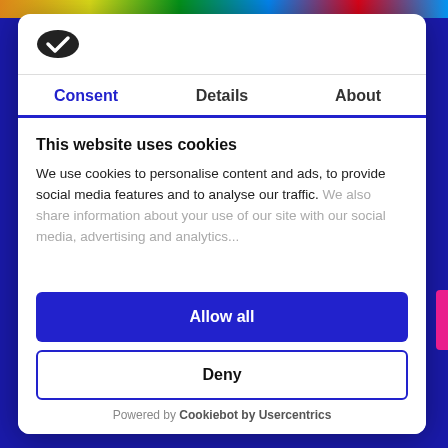[Figure (logo): Cookiebot logo — dark oval shape with a checkmark inside]
Consent | Details | About
This website uses cookies
We use cookies to personalise content and ads, to provide social media features and to analyse our traffic. We also share information about your use of our site with our social media, advertising and analytics...
Allow all
Deny
Powered by Cookiebot by Usercentrics